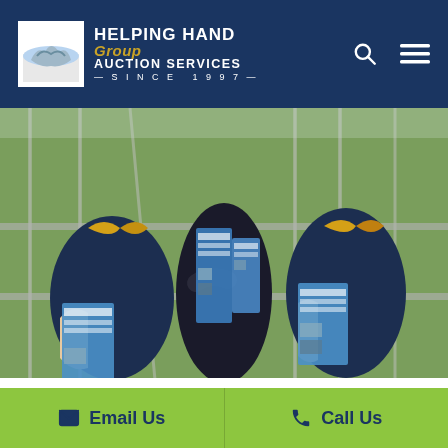Helping Hand Group Auction Services — Since 1997
[Figure (photo): Three people dressed in navy blue attire standing outdoors on grass, holding blue event brochures/flyers. Two women and one man, with a metal fence barrier behind them.]
Combining an outdoor component with your event schedule can create a new way to engage guests in your live and silent
Email Us   Call Us